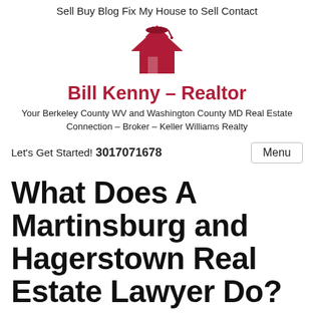Sell  Buy  Blog  Fix My House to Sell  Contact
[Figure (logo): Red house/home icon logo for Bill Kenny Realtor]
Bill Kenny – Realtor
Your Berkeley County WV and Washington County MD Real Estate Connection – Broker – Keller Williams Realty
Let's Get Started! 3017071678
What Does A Martinsburg and Hagerstown Real Estate Lawyer Do?